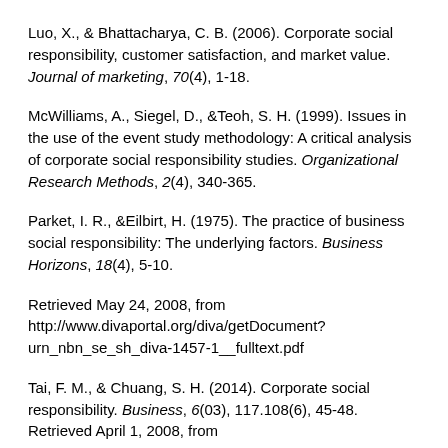Luo, X., & Bhattacharya, C. B. (2006). Corporate social responsibility, customer satisfaction, and market value. Journal of marketing, 70(4), 1-18.
McWilliams, A., Siegel, D., &Teoh, S. H. (1999). Issues in the use of the event study methodology: A critical analysis of corporate social responsibility studies. Organizational Research Methods, 2(4), 340-365.
Parket, I. R., &Eilbirt, H. (1975). The practice of business social responsibility: The underlying factors. Business Horizons, 18(4), 5-10.
Retrieved May 24, 2008, from http://www.divaportal.org/diva/getDocument?urn_nbn_se_sh_diva-1457-1__fulltext.pdf
Tai, F. M., & Chuang, S. H. (2014). Corporate social responsibility. Business, 6(03), 117.108(6), 45-48. Retrieved April 1, 2008, from